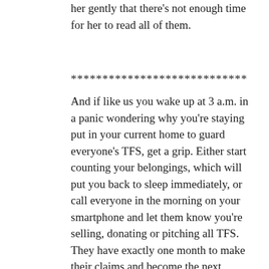Angeles were already abandoning them, tell her gently that there's not enough time for her to read all of them.
****************************
And if like us you wake up at 3 a.m. in a panic wondering why you're staying put in your current home to guard everyone's TFS, get a grip. Either start counting your belongings, which will put you back to sleep immediately, or call everyone in the morning on your smartphone and let them know you're selling, donating or pitching all TFS. They have exactly one month to make their claims and become the next anointed keeper. It's a role we eagerly pass on.